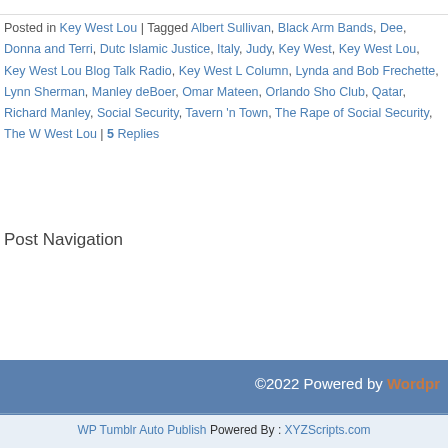Posted in Key West Lou | Tagged Albert Sullivan, Black Arm Bands, Dee, Donna and Terri, Dutch, Islamic Justice, Italy, Judy, Key West, Key West Lou, Key West Lou Blog Talk Radio, Key West Lou Column, Lynda and Bob Frechette, Lynn Sherman, Manley deBoer, Omar Mateen, Orlando Shooting Club, Qatar, Richard Manley, Social Security, Tavern 'n Town, The Rape of Social Security, The West Lou | 5 Replies
Post Navigation
©2022 Powered by WordPress
WP Tumblr Auto Publish Powered By : XYZScripts.com